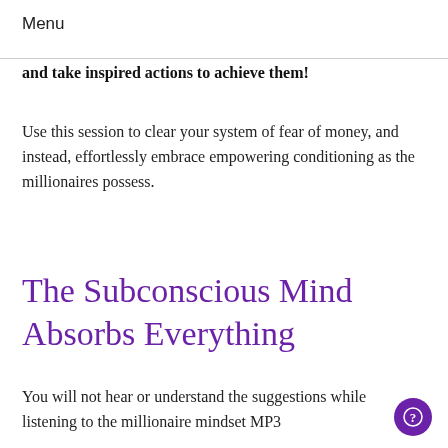Menu
and take inspired actions to achieve them!
Use this session to clear your system of fear of money, and instead, effortlessly embrace empowering conditioning as the millionaires possess.
The Subconscious Mind Absorbs Everything
You will not hear or understand the suggestions while listening to the millionaire mindset MP3